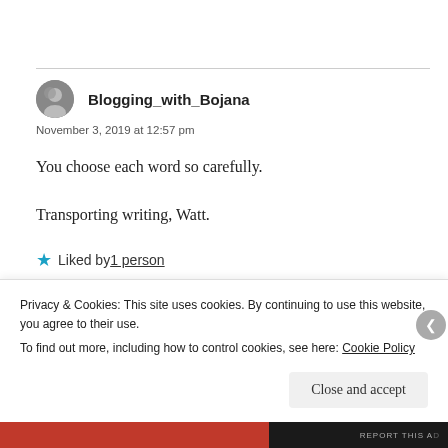[Figure (illustration): Circular avatar photo of user Blogging_with_Bojana]
Blogging_with_Bojana
November 3, 2019 at 12:57 pm
You choose each word so carefully.
Transporting writing, Watt.
Liked by 1 person
REPLY
Privacy & Cookies: This site uses cookies. By continuing to use this website, you agree to their use.
To find out more, including how to control cookies, see here: Cookie Policy
Close and accept